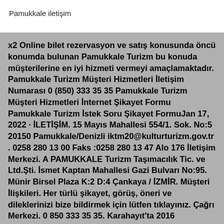Pamukkale iletişim
x2 Online bilet rezervasyon ve satış konusunda öncü konumda bulunan Pamukkale Turizm bu konuda müşterilerine en iyi hizmeti vermeyi amaçlamaktadır. Pamukkale Turizm Müşteri Hizmetleri İletişim Numarası 0 (850) 333 35 35 Pamukkale Turizm Müşteri Hizmetleri İnternet Şikayet Formu Pamukkale Turizm İstek Soru Şikayet FormuJan 17, 2022 · İLETİŞİM. 15 Mayıs Mahallesi 554/1. Sok. No:5 20150 Pamukkale/Denizli iktm20@kulturturizm.gov.tr . 0258 280 13 00 Faks :0258 280 13 47 Alo 176 İletişim Merkezi. A PAMUKKALE Turizm Taşımacılık Tic. ve Ltd.Şti. İsmet Kaptan Mahallesi Gazi Bulvarı No:95. Münir Birsel Plaza K:2 D:4 Çankaya / İZMİR. Müşteri İlişkileri. Her türlü şikayet, görüş, öneri ve dileklerinizi bize bildirmek için lütfen tıklayınız. Çağrı Merkezi. 0 850 333 35 35. Karahayıt'ta 2016